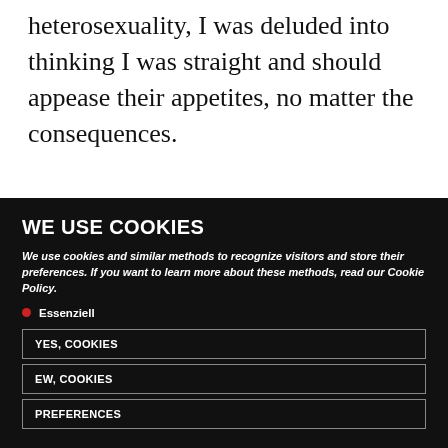heterosexuality, I was deluded into thinking I was straight and should appease their appetites, no matter the consequences.
WE USE COOKIES
We use cookies and similar methods to recognize visitors and store their preferences. If you want to learn more about these methods, read our Cookie Policy.
Essenziell
YES, COOKIES
EW, COOKIES
PREFERENCES
Datenschutzerklärung • Impressum • Cookie Consent mit Real Cookie Banner